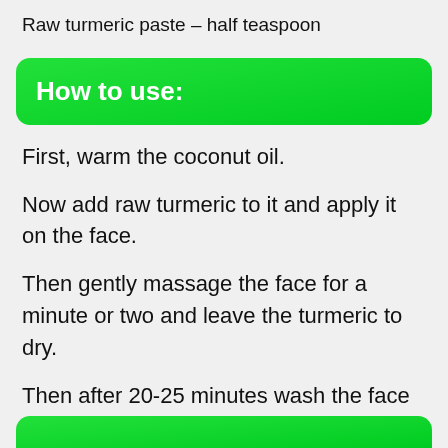Raw turmeric paste – half teaspoon
How to use:
First, warm the coconut oil.
Now add raw turmeric to it and apply it on the face.
Then gently massage the face for a minute or two and leave the turmeric to dry.
Then after 20-25 minutes wash the face with lukewarm water.